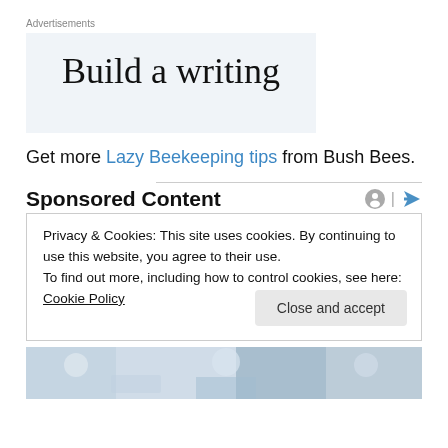Advertisements
[Figure (illustration): Advertisement banner with partial text 'Build a writing' visible on a light blue-gray background]
Get more Lazy Beekeeping tips from Bush Bees.
Sponsored Content
Privacy & Cookies: This site uses cookies. By continuing to use this website, you agree to their use.
To find out more, including how to control cookies, see here: Cookie Policy
Close and accept
[Figure (photo): Partial photo strip showing people in medical/professional attire]